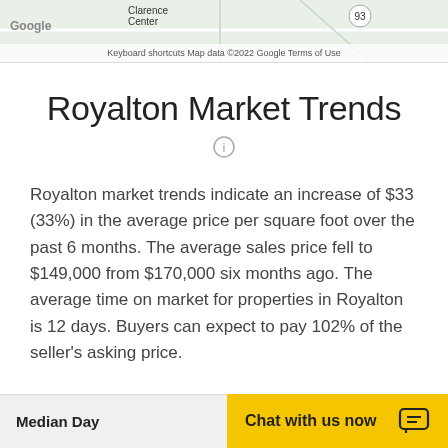[Figure (map): Google Maps partial view showing Clarence Center area with road 93 visible. Map footer shows 'Keyboard shortcuts  Map data ©2022 Google  Terms of Use']
Royalton Market Trends
Royalton market trends indicate an increase of $33 (33%) in the average price per square foot over the past 6 months. The average sales price fell to $149,000 from $170,000 six months ago. The average time on market for properties in Royalton is 12 days. Buyers can expect to pay 102% of the seller's asking price.
Median Day  Chat with us now